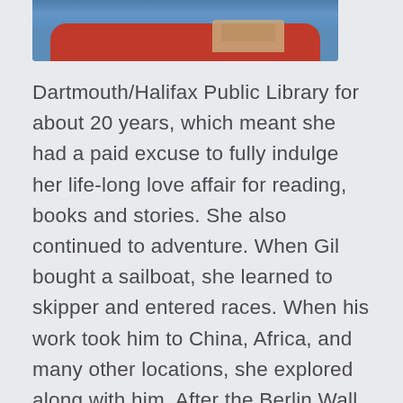[Figure (photo): Partial photo showing a red boat/sailboat on blue water, cropped at the bottom of the visible area at the top of the page]
Dartmouth/Halifax Public Library for about 20 years, which meant she had a paid excuse to fully indulge her life-long love affair for reading, books and stories. She also continued to adventure. When Gil bought a sailboat, she learned to skipper and entered races. When his work took him to China, Africa, and many other locations, she explored along with him. After the Berlin Wall fell, she signed up to teach English in a Slovakian high school. When her kids lived in distant cities, she travelled to see each dwelling and made it feel like home. She sang in a community choir and volunteered for the Scott Manor House local historic society. When her grandchildren arrived, she retired early to make sure their imaginations too were inspired. And when Gil was stricken with